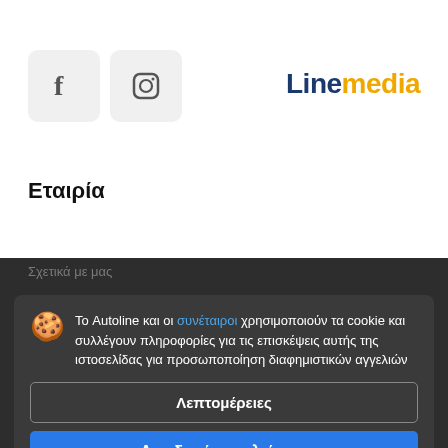[Figure (logo): Facebook icon in a light grey rounded square box]
[Figure (logo): Instagram icon in a light grey rounded square box]
[Figure (logo): Linemedia logo: 'Line' in dark blue bold, 'media' in orange bold]
Εταιρία
Σχετικά με μας
Το Autoline και οι συνέταιροι χρησιμοποιούν τα cookie και συλλέγουν πληροφορίες για τις επισκέψεις αυτής της ιστοσελίδας για προσωποποίηση διαφημιστικών αγγελιών
Λεπτομέρειες
Αποδοχή και κλείσιμο